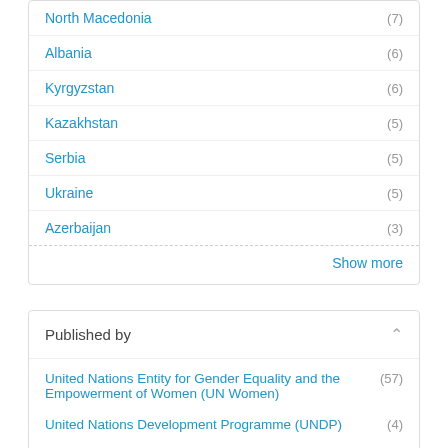North Macedonia (7)
Albania (6)
Kyrgyzstan (6)
Kazakhstan (5)
Serbia (5)
Ukraine (5)
Azerbaijan (3)
Show more
Published by
United Nations Entity for Gender Equality and the Empowerment of Women (UN Women) (57)
United Nations Development Programme (UNDP) (4)
United Nations Population Fund (UNFPA) (4)
United Nations Office for Project Services (UNOPS) (2)
United Nations Office on Drugs and Crime (UNODC) (2)
World Health Organization (WHO) (2)